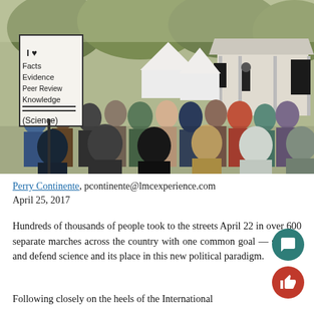[Figure (photo): Outdoor crowd gathered for a science march. A person holds a sign reading 'I ♥ Facts Evidence Peer Review Knowledge (= Science)'. In the background is a gazebo/pavilion with a speaker at a podium, trees, and white tents.]
Perry Continente, pcontinente@lmcexperience.com
April 25, 2017
Hundreds of thousands of people took to the streets April 22 in over 600 separate marches across the country with one common goal — support and defend science and its place in this new political paradigm.
Following closely on the heels of the International